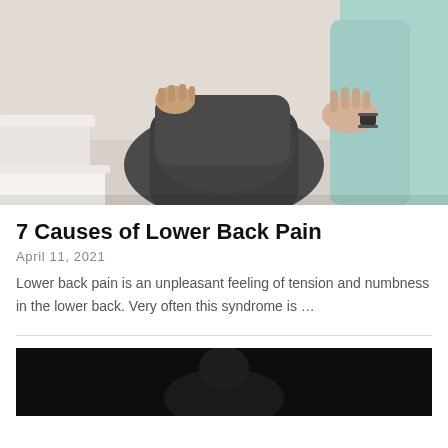[Figure (photo): A healthcare professional examining or treating a patient's lower back. A patient in a dark grey shirt is seated while a clinician in a teal/mint top uses both hands to assess the patient's back.]
7 Causes of Lower Back Pain
April 11, 2021
Lower back pain is an unpleasant feeling of tension and numbness in the lower back. Very often this syndrome is …
[Figure (photo): A dark image, partially visible at the bottom of the page, appears to show a person or scene with very dark/black background.]